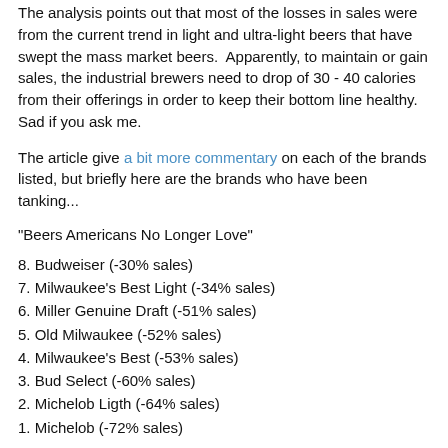The analysis points out that most of the losses in sales were from the current trend in light and ultra-light beers that have swept the mass market beers.  Apparently, to maintain or gain sales, the industrial brewers need to drop of 30 - 40 calories from their offerings in order to keep their bottom line healthy.  Sad if you ask me.
The article give a bit more commentary on each of the brands listed, but briefly here are the brands who have been tanking...
"Beers Americans No Longer Love"
8. Budweiser (-30% sales)
7. Milwaukee's Best Light (-34% sales)
6. Miller Genuine Draft (-51% sales)
5. Old Milwaukee (-52% sales)
4. Milwaukee's Best (-53% sales)
3. Bud Select (-60% sales)
2. Michelob Ligth (-64% sales)
1. Michelob (-72% sales)
To be continued... for Milwaukee...